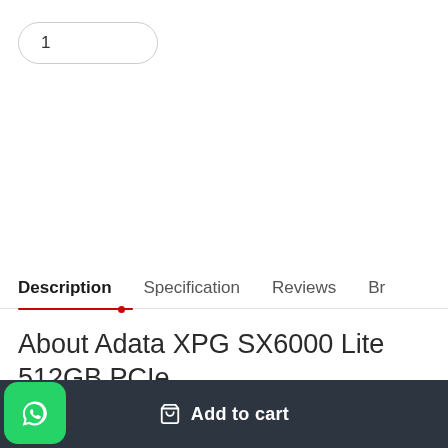1
Description	Specification	Reviews	Br
About Adata XPG SX6000 Lite 512GB PCIe
Add to cart